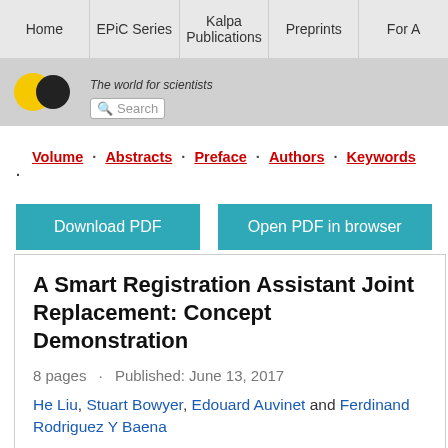Home · EPiC Series · Kalpa Publications · Preprints · For A
[Figure (logo): EasyChair logo with yellow and black circles and tagline 'The world for scientists', with a search box]
Volume · Abstracts · Preface · Authors · Keywords ·
Download PDF   Open PDF in browser
A Smart Registration Assistant Joint Replacement: Concept Demonstration
8 pages · Published: June 13, 2017
He Liu, Stuart Bowyer, Edouard Auvinet and Ferdinand Rodriguez Y Baena